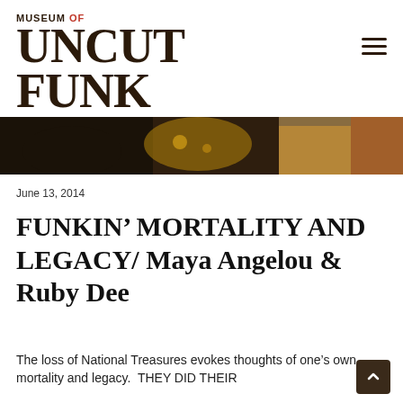MUSEUM OF UNCUT FUNK
[Figure (photo): Cropped hero image showing people in colorful attire, partial view of faces and clothing against a dark background]
June 13, 2014
FUNKIN’ MORTALITY AND LEGACY/ Maya Angelou & Ruby Dee
The loss of National Treasures evokes thoughts of one’s own mortality and legacy.  THEY DID THEIR